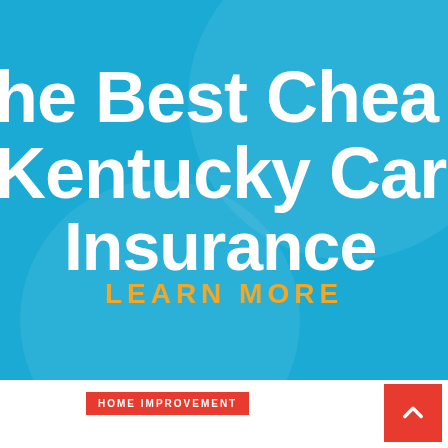[Figure (illustration): Blue banner advertisement for 'The Best Cheap Kentucky Car Insurance' with 'LEARN MORE' call to action in gold text on a bright blue background with subtle circular decorative elements.]
he Best Cheap Kentucky Car Insurance
LEARN MORE
HOME IMPROVEMENT